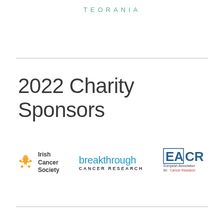TEORANIA
2022 Charity Sponsors
[Figure (logo): Irish Cancer Society logo with orange star/person icon and bold text 'Irish Cancer Society']
[Figure (logo): Breakthrough Cancer Research logo in blue text]
[Figure (logo): EACR (European Association for Cancer Research) logo in dark blue]